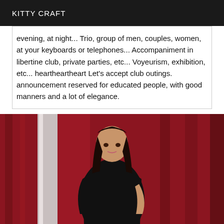KITTY CRAFT
evening, at night... Trio, group of men, couples, women, at your keyboards or telephones... Accompaniment in libertine club, private parties, etc... Voyeurism, exhibition, etc... heartheartheart Let's accept club outings. announcement reserved for educated people, with good manners and a lot of elegance.
[Figure (photo): Woman with long dark hair wearing a black dress, posing in front of red and white curtains]